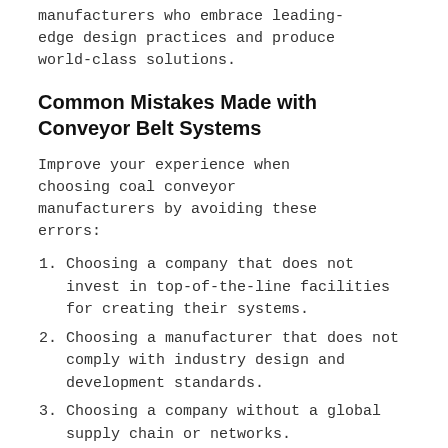manufacturers who embrace leading-edge design practices and produce world-class solutions.
Common Mistakes Made with Conveyor Belt Systems
Improve your experience when choosing coal conveyor manufacturers by avoiding these errors:
Choosing a company that does not invest in top-of-the-line facilities for creating their systems.
Choosing a manufacturer that does not comply with industry design and development standards.
Choosing a company without a global supply chain or networks.
...